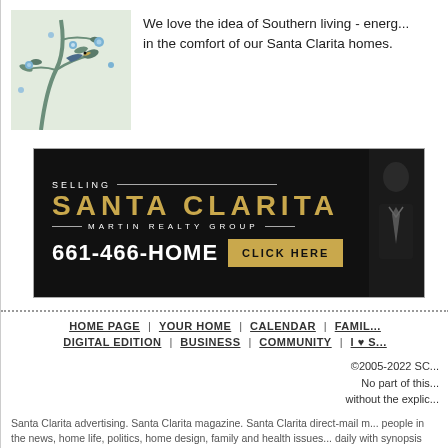[Figure (illustration): Blue and white floral/bird botanical wallpaper illustration with tree branches and flowers]
We love the idea of Southern living - energ... in the comfort of our Santa Clarita homes.
[Figure (infographic): Advertisement banner for Martin Realty Group - Selling Santa Clarita, phone 661-466-HOME with CLICK HERE button and person in suit]
HOME PAGE | YOUR HOME | CALENDAR | FAMIL... | DIGITAL EDITION | BUSINESS | COMMUNITY | I ♥ S...
©2005-2022 SC... No part of this... without the explic...
Santa Clarita advertising. Santa Clarita magazine. Santa Clarita direct-mail m... people in the news, home life, politics, home design, family and health issues... daily with synopsis and movie posters. The best direct mail publication in the...